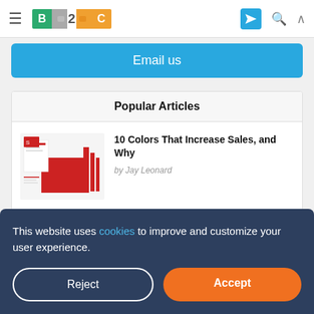≡ B2C [logo]
Email us
Popular Articles
[Figure (photo): Red and white branding/stationery design materials on a white background]
10 Colors That Increase Sales, and Why
by Jay Leonard
This website uses cookies to improve and customize your user experience.
Reject
Accept